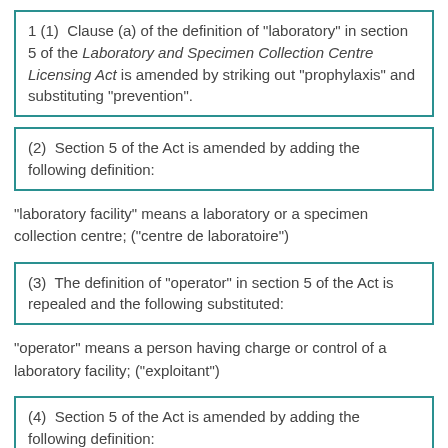1 (1)  Clause (a) of the definition of "laboratory" in section 5 of the Laboratory and Specimen Collection Centre Licensing Act is amended by striking out "prophylaxis" and substituting "prevention".
(2)  Section 5 of the Act is amended by adding the following definition:
"laboratory facility" means a laboratory or a specimen collection centre; ("centre de laboratoire")
(3)  The definition of "operator" in section 5 of the Act is repealed and the following substituted:
"operator" means a person having charge or control of a laboratory facility; ("exploitant")
(4)  Section 5 of the Act is amended by adding the following definition: